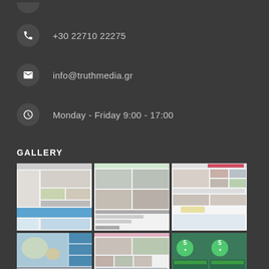+30 22710 22275
info@truthmedia.gr
Monday - Friday 9:00 - 17:00
GALLERY
[Figure (screenshot): Gallery grid showing three columns of website screenshot thumbnails]